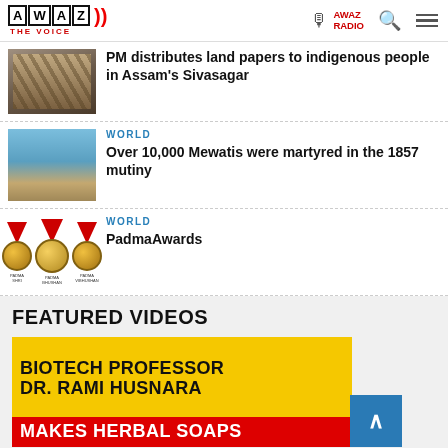AWAZ THE VOICE | AWAZ RADIO
PM distributes land papers to indigenous people in Assam's Sivasagar
WORLD
Over 10,000 Mewatis were martyred in the 1857 mutiny
WORLD
PadmaAwards
FEATURED VIDEOS
[Figure (photo): Video thumbnail showing text: BIOTECH PROFESSOR DR. RAMI HUSNARA MAKES HERBAL SOAPS]
BIOTECH PROFESSOR DR. RAMI HUSNARA MAKES HERBAL SOAPS